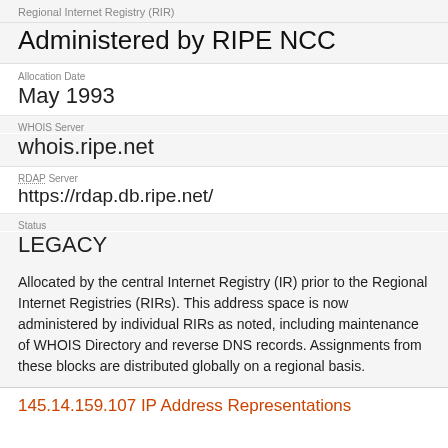Regional Internet Registry (RIR)
Administered by RIPE NCC
Allocation Date
May 1993
WHOIS Server
whois.ripe.net
RDAP Server
https://rdap.db.ripe.net/
Status
LEGACY
Allocated by the central Internet Registry (IR) prior to the Regional Internet Registries (RIRs). This address space is now administered by individual RIRs as noted, including maintenance of WHOIS Directory and reverse DNS records. Assignments from these blocks are distributed globally on a regional basis.
145.14.159.107 IP Address Representations